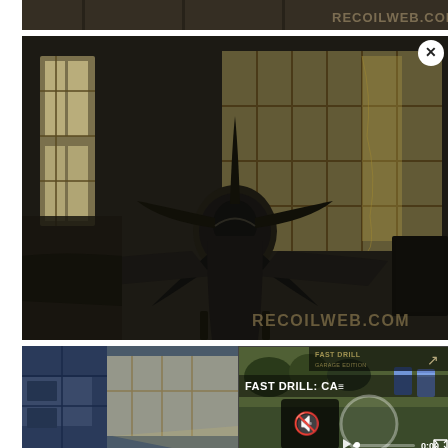[Figure (photo): Partial top strip showing a hangar ceiling with RECOILWEB.COM watermark on the right side. Dark image.]
[Figure (photo): Main large photo of a vintage WWII-era fighter airplane (front view, propeller visible) parked inside a hangar with large industrial windows in the background. Dark/silhouetted scene. RECOILWEB.COM watermark bottom right. A video player overlay appears in the bottom-right corner showing 'FAST DRILL: CA...' with playback controls, mute icon, and 0:00 timestamp. An X close button is visible.]
[Figure (photo): Bottom-left partial photo showing a blue aircraft fuselage or wing structure inside a hangar with light streaming through windows.]